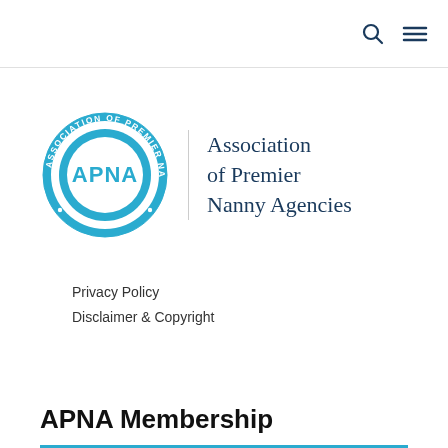[Figure (logo): APNA circular logo with blue ring, 'ASSOCIATION OF PREMIER NANNY AGENCIES' text around the ring, and 'APNA' letters in the center]
Association of Premier Nanny Agencies
Privacy Policy
Disclaimer & Copyright
APNA Membership